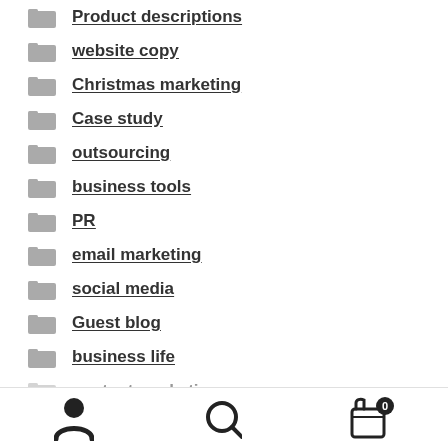Product descriptions
website copy
Christmas marketing
Case study
outsourcing
business tools
PR
email marketing
social media
Guest blog
business life
content marketing